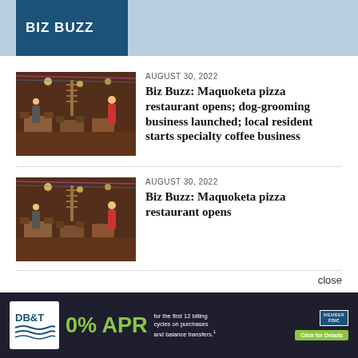BIZ BUZZ
AUGUST 30, 2022
Biz Buzz: Maquoketa pizza restaurant opens; dog-grooming business launched; local resident starts specialty coffee business
AUGUST 30, 2022
Biz Buzz: Maquoketa pizza restaurant opens
[Figure (photo): Interior of a pizza restaurant with tables, chairs, and warm lighting]
[Figure (photo): Interior of a pizza restaurant with tables, chairs, and warm lighting]
[Figure (advertisement): DB&T bank advertisement: 0% APR for the first 12 billing cycles on purchases and balance transfers. Click for Details.]